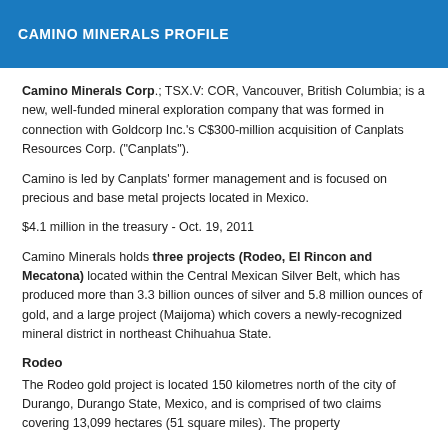CAMINO MINERALS PROFILE
Camino Minerals Corp.; TSX.V: COR, Vancouver, British Columbia; is a new, well-funded mineral exploration company that was formed in connection with Goldcorp Inc.'s C$300-million acquisition of Canplats Resources Corp. ("Canplats").
Camino is led by Canplats' former management and is focused on precious and base metal projects located in Mexico.
$4.1 million in the treasury - Oct. 19, 2011
Camino Minerals holds three projects (Rodeo, El Rincon and Mecatona) located within the Central Mexican Silver Belt, which has produced more than 3.3 billion ounces of silver and 5.8 million ounces of gold, and a large project (Maijoma) which covers a newly-recognized mineral district in northeast Chihuahua State.
Rodeo
The Rodeo gold project is located 150 kilometres north of the city of Durango, Durango State, Mexico, and is comprised of two claims covering 13,099 hectares (51 square miles). The property